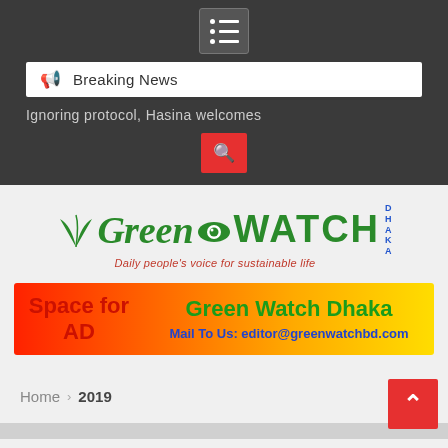Breaking News
Ignoring protocol, Hasina welcomes
[Figure (logo): Green Watch Dhaka logo with leaf, eye symbol, tagline: Daily people's voice for sustainable life]
[Figure (infographic): Advertisement banner: Space for AD | Green Watch Dhaka | Mail To Us: editor@greenwatchbd.com]
Home > 2019